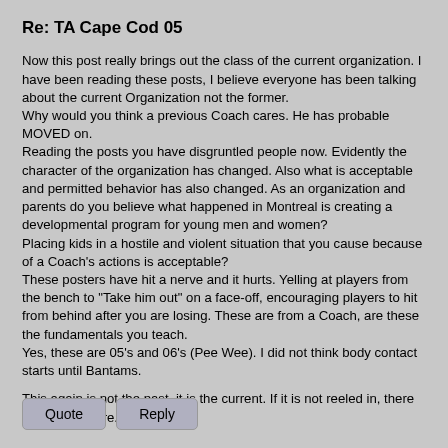Re: TA Cape Cod 05
Now this post really brings out the class of the current organization. I have been reading these posts, I believe everyone has been talking about the current Organization not the former.
Why would you think a previous Coach cares. He has probable MOVED on.
Reading the posts you have disgruntled people now. Evidently the character of the organization has changed. Also what is acceptable and permitted behavior has also changed. As an organization and parents do you believe what happened in Montreal is creating a developmental program for young men and women?
Placing kids in a hostile and violent situation that you cause because of a Coach's actions is acceptable?
These posters have hit a nerve and it hurts. Yelling at players from the bench to "Take him out" on a face-off, encouraging players to hit from behind after you are losing. These are from a Coach, are these the fundamentals you teach.
Yes, these are 05's and 06's (Pee Wee). I did not think body contact starts until Bantams.
This again is not the past, it is the current. If it is not reeled in, there will be no future.